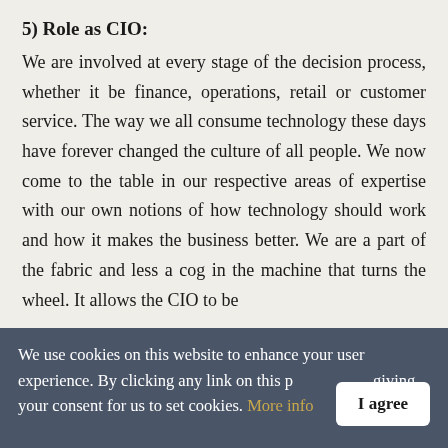5) Role as CIO:
We are involved at every stage of the decision process, whether it be finance, operations, retail or customer service. The way we all consume technology these days have forever changed the culture of all people. We now come to the table in our respective areas of expertise with our own notions of how technology should work and how it makes the business better. We are a part of the fabric and less a cog in the machine that turns the wheel. It allows the CIO to be become more predictive and data-driven the...
We use cookies on this website to enhance your user experience. By clicking any link on this page you are giving your consent for us to set cookies. More info